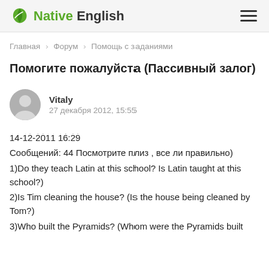Native English
Главная › Форум › Помощь с заданиями
Помогите пожалуйста (Пассивный залог)
Vitaly
27 декабря 2012, 15:55
14-12-2011 16:29
Сообщений: 44 Посмотрите плиз , все ли правильно)
1)Do they teach Latin at this school? Is Latin taught at this school?)
2)Is Tim cleaning the house? (Is the house being cleaned by Tom?)
3)Who built the Pyramids? (Whom were the Pyramids built